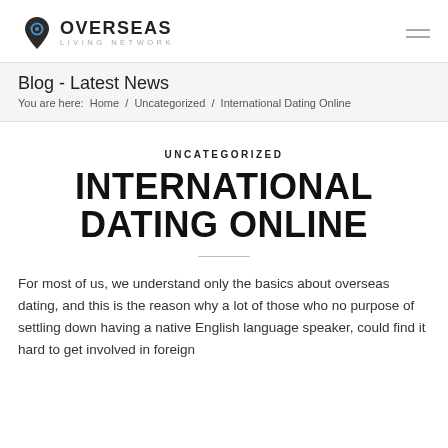OVERSEAS LIVING NETWORK
Blog - Latest News
You are here:  Home  /  Uncategorized  /  International Dating Online
UNCATEGORIZED
INTERNATIONAL DATING ONLINE
For most of us, we understand only the basics about overseas dating, and this is the reason why a lot of those who no purpose of settling down having a native English language speaker, could find it hard to get involved in foreign